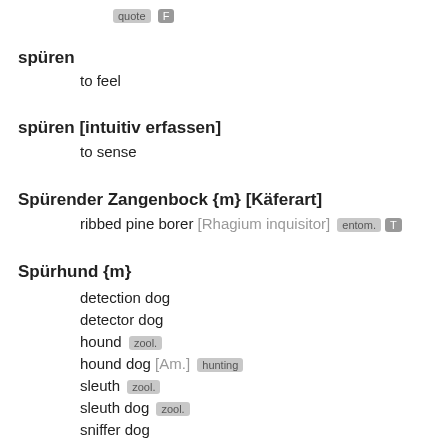quote F
spüren
to feel
spüren [intuitiv erfassen]
to sense
Spürender Zangenbock {m} [Käferart]
ribbed pine borer [Rhagium inquisitor] entom. T
Spürhund {m}
detection dog
detector dog
hound zool.
hound dog [Am.] hunting
sleuth zool.
sleuth dog zool.
sniffer dog
track dog hunting zool.